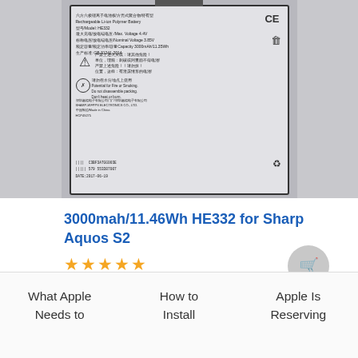[Figure (photo): Product photo of a rechargeable Li-ion Polymer Battery labeled HE332, showing Chinese text, safety symbols, CE mark, capacity 3000mAh/11.46Wh, Made in China, with serial number and date CODE.]
3000mah/11.46Wh HE332 for Sharp Aquos S2
★★★★★
$56.02
What Apple Needs to
How to Install
Apple Is Reserving